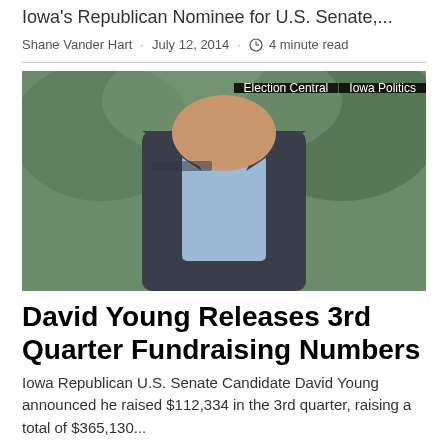Iowa's Republican Nominee for U.S. Senate,...
Shane Vander Hart · July 12, 2014 · 4 minute read
[Figure (photo): Photo of David Young, a man in a dark suit jacket and light blue dress shirt, photographed outdoors with green foliage in background. Overlay tags read 'Election Central' and 'Iowa Politics'.]
David Young Releases 3rd Quarter Fundraising Numbers
Iowa Republican U.S. Senate Candidate David Young announced he raised $112,334 in the 3rd quarter, raising a total of $365,130...